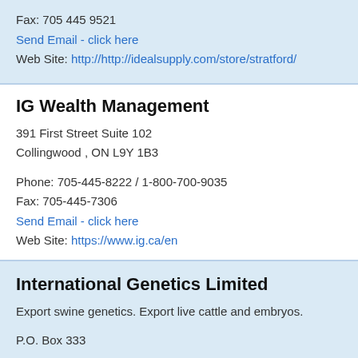Fax: 705 445 9521
Send Email - click here
Web Site: http://http://idealsupply.com/store/stratford/
IG Wealth Management
391 First Street Suite 102
Collingwood , ON L9Y 1B3
Phone: 705-445-8222 / 1-800-700-9035
Fax: 705-445-7306
Send Email - click here
Web Site: https://www.ig.ca/en
International Genetics Limited
Export swine genetics. Export live cattle and embryos.
P.O. Box 333